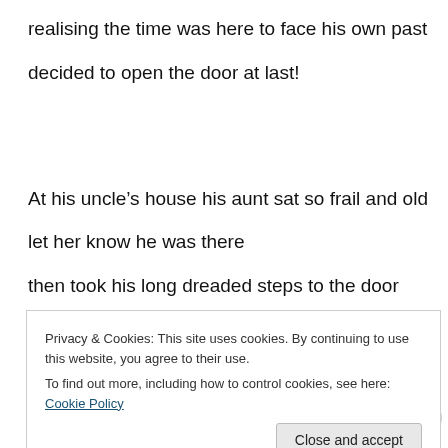realising the time was here to face his own past
decided to open the door at last!
At his uncle’s house his aunt sat so frail and old
let her know he was there
then took his long dreaded steps to the door
the dust made him cough
Privacy & Cookies: This site uses cookies. By continuing to use this website, you agree to their use.
To find out more, including how to control cookies, see here: Cookie Policy